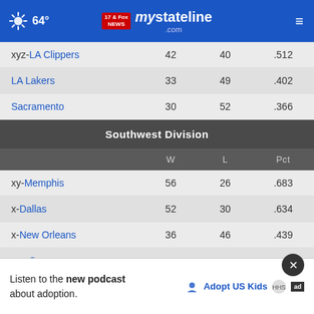64° mystateline.com NEWS
|  | W | L | Pct |
| --- | --- | --- | --- |
| xyz-LA Clippers | 42 | 40 | .512 |
| LA Lakers | 33 | 49 | .402 |
| Sacramento | 30 | 52 | .366 |
| Southwest Division |  |  |  |
|  | W | L | Pct |
| xy-Memphis | 56 | 26 | .683 |
| x-Dallas | 52 | 30 | .634 |
| x-New Orleans | 36 | 46 | .439 |
| xyz-Sa... |  |  |  |
| Housto... |  |  |  |
Listen to the new podcast about adoption.